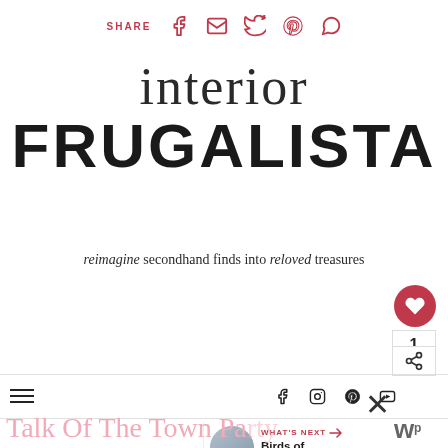SHARE [facebook] [email] [twitter] [pinterest] [whatsapp]
interior FRUGALISTA
reimagine secondhand finds into reloved treasures
[Figure (screenshot): Website screenshot of Interior Frugalista blog showing share bar, logo, tagline, navigation bar with social icons, and overlay UI elements including a heart button, share count, What's Next panel showing 'Birds of Paradise...', Talk Of The Town Party watermark, and close button]